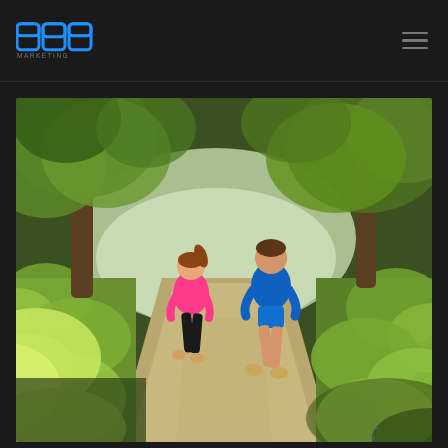898 MARKETING
[Figure (photo): Two people running on a tree-lined path outdoors. A woman in a pink top and black pants and a man in a blue shirt and blue shorts are seen from behind jogging along a dirt path surrounded by lush green trees and foliage.]